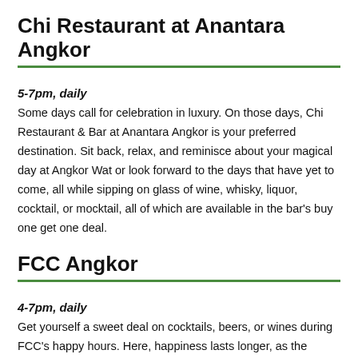Chi Restaurant at Anantara Angkor
5-7pm, daily
Some days call for celebration in luxury. On those days, Chi Restaurant & Bar at Anantara Angkor is your preferred destination. Sit back, relax, and reminisce about your magical day at Angkor Wat or look forward to the days that have yet to come, all while sipping on glass of wine, whisky, liquor, cocktail, or mocktail, all of which are available in the bar's buy one get one deal.
FCC Angkor
4-7pm, daily
Get yourself a sweet deal on cocktails, beers, or wines during FCC's happy hours. Here, happiness lasts longer, as the happy hour kicks off at 4pm until 7pm. Enjoy a selection…